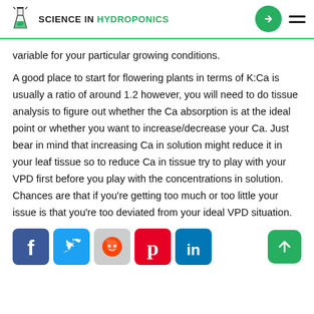SCIENCE IN HYDROPONICS
variable for your particular growing conditions.
A good place to start for flowering plants in terms of K:Ca is usually a ratio of around 1.2 however, you will need to do tissue analysis to figure out whether the Ca absorption is at the ideal point or whether you want to increase/decrease your Ca. Just bear in mind that increasing Ca in solution might reduce it in your leaf tissue so to reduce Ca in tissue try to play with your VPD first before you play with the concentrations in solution. Chances are that if you’re getting too much or too little your issue is that you’re too deviated from your ideal VPD situation.
[Figure (other): Social media share icons: Facebook, Twitter, Reddit, Pinterest, LinkedIn]